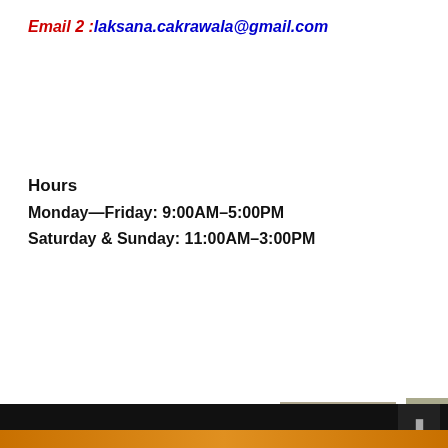Email 2 :laksana.cakrawala@gmail.com
Hours
Monday—Friday: 9:00AM–5:00PM
Saturday & Sunday: 11:00AM–3:00PM
[Figure (photo): Four thumbnail photos showing office/meeting scenes]